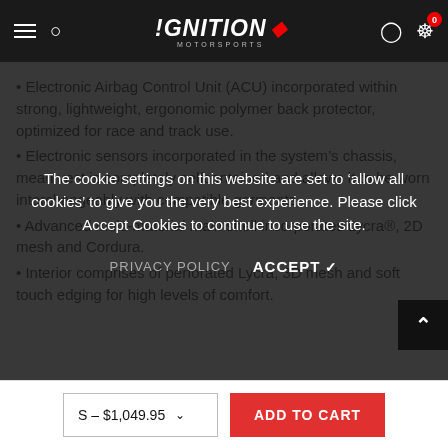!GNITION MOTORSPORTS
Electronic Airbag Control Unit (ACU) incorporated within strong, lightweight, ergonomic polymer back protector, optimized for race and track use.
Electronic sensors incorporated in the system's chassis, mean vest is completely selfcontained and allows it to be worn interchangeably with compatible garments.
Advanced multi-material main shell incorporates Lycra®, 2D mesh and Cordura.
Interior comprises of perforated Lycra, 3D mesh and soft touch edging for high levels of comfort.
The cookie settings on this website are set to 'allow all cookies' to give you the very best experience. Please click Accept Cookies to continue to use the site.
PRIVACY POLICY   ACCEPT ✓
S – $1,049.95   ADD TO CART